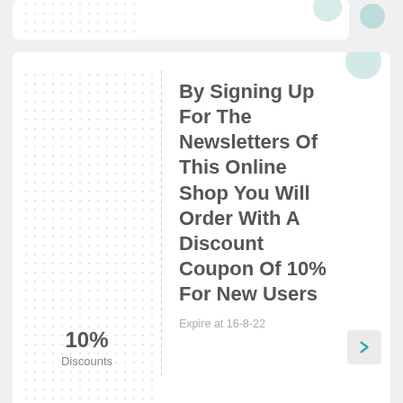[Figure (screenshot): Partial top coupon card (cropped at top)]
10% Discounts
By Signing Up For The Newsletters Of This Online Shop You Will Order With A Discount Coupon Of 10% For New Users
Expire at 16-8-22
70% Discounts
Enjoy Up To 70% Savings On Blakes 7 At Zoom
Expire at 24-11-21